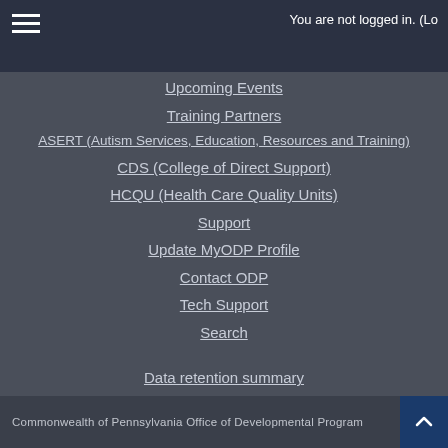You are not logged in. (Lo
Upcoming Events
Training Partners
ASERT (Autism Services, Education, Resources and Training)
CDS (College of Direct Support)
HCQU (Health Care Quality Units)
Support
Update MyODP Profile
Contact ODP
Tech Support
Search
Data retention summary
Switch to the standard theme
Commonwealth of Pennsylvania Office of Developmental Program